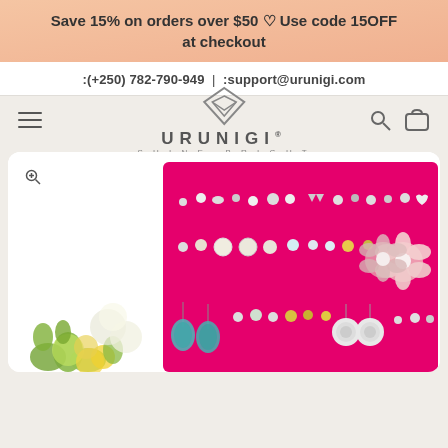Save 15% on orders over $50 ♡ Use code 15OFF at checkout
:(+250) 782-790-949 |  :support@urunigi.com
[Figure (logo): Urunigi brand logo with diamond shape icon and tagline SHINE BRIGHT]
[Figure (photo): Pink velvet earring display board showing multiple pairs of earrings including studs, floral earrings, and dangle earrings. Green flowers visible at bottom left.]